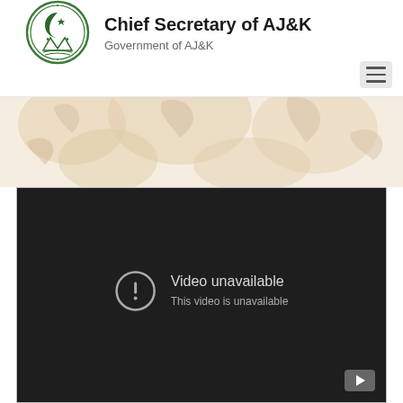Chief Secretary of AJ&K — Government of AJ&K
[Figure (screenshot): YouTube embedded video player showing 'Video unavailable — This video is unavailable' error message on dark background with YouTube play button in bottom right corner]